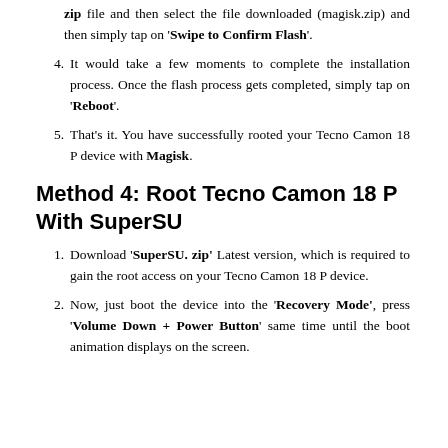zip file and then select the file downloaded (magisk.zip) and then simply tap on 'Swipe to Confirm Flash'.
4. It would take a few moments to complete the installation process. Once the flash process gets completed, simply tap on 'Reboot'.
5. That's it. You have successfully rooted your Tecno Camon 18 P device with Magisk.
Method 4: Root Tecno Camon 18 P With SuperSU
1. Download 'SuperSU. zip' Latest version, which is required to gain the root access on your Tecno Camon 18 P device.
2. Now, just boot the device into the 'Recovery Mode', press 'Volume Down + Power Button' same time until the boot animation displays on the screen.